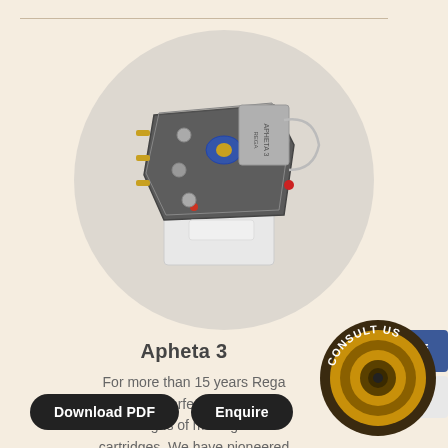[Figure (photo): Rega Apheta 3 moving coil cartridge product photo inside a circular gray background]
Apheta 3
For more than 15 years Rega has been perfecting its unique designs of moving coil cartridges. We have pioneered
[Figure (logo): Consult Us badge - circular logo with speaker and text CONSULT US]
[Figure (logo): Facebook social media button - blue square with white f]
[Figure (logo): Twitter social media button - white square with blue bird]